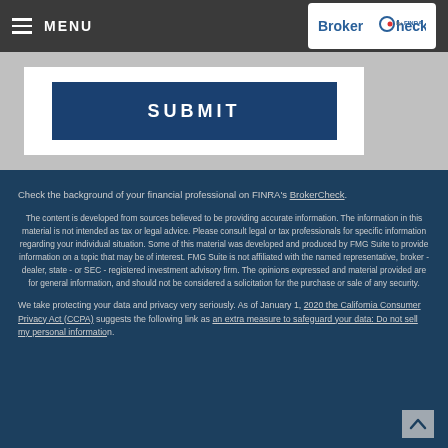MENU | BrokerCheck by FINRA
[Figure (screenshot): SUBMIT button on dark blue background inside a white form box]
Check the background of your financial professional on FINRA's BrokerCheck.
The content is developed from sources believed to be providing accurate information. The information in this material is not intended as tax or legal advice. Please consult legal or tax professionals for specific information regarding your individual situation. Some of this material was developed and produced by FMG Suite to provide information on a topic that may be of interest. FMG Suite is not affiliated with the named representative, broker - dealer, state - or SEC - registered investment advisory firm. The opinions expressed and material provided are for general information, and should not be considered a solicitation for the purchase or sale of any security.
We take protecting your data and privacy very seriously. As of January 1, 2020 the California Consumer Privacy Act (CCPA) suggests the following link as an extra measure to safeguard your data: Do not sell my personal information.